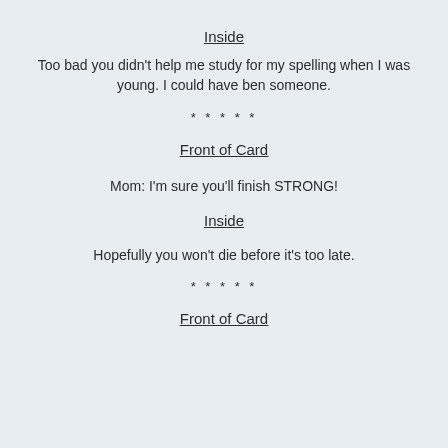Inside
Too bad you didn't help me study for my spelling when I was young. I could have ben someone.
*****
Front of Card
Mom: I'm sure you'll finish STRONG!
Inside
Hopefully you won't die before it's too late.
*****
Front of Card